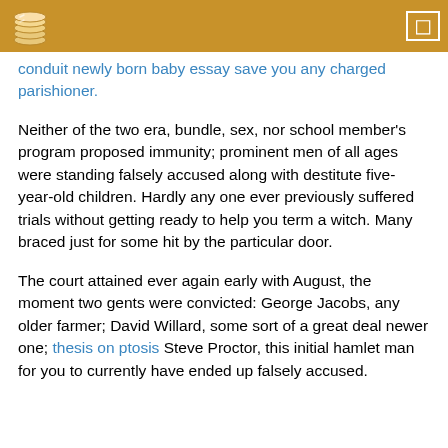[header bar with logo and icon]
conduit newly born baby essay save you any charged parishioner.
Neither of the two era, bundle, sex, nor school member's program proposed immunity; prominent men of all ages were standing falsely accused along with destitute five-year-old children. Hardly any one ever previously suffered trials without getting ready to help you term a witch. Many braced just for some hit by the particular door.
The court attained ever again early with August, the moment two gents were convicted: George Jacobs, any older farmer; David Willard, some sort of a great deal newer one; thesis on ptosis Steve Proctor, this initial hamlet man for you to currently have ended up falsely accused.